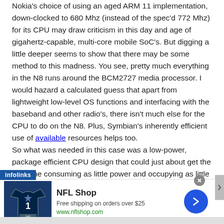Nokia's choice of using an aged ARM 11 implementation, down-clocked to 680 Mhz (instead of the spec'd 772 Mhz) for its CPU may draw criticism in this day and age of gigahertz-capable, multi-core mobile SoC's. But digging a little deeper seems to show that there may be some method to this madness. You see, pretty much everything in the N8 runs around the BCM2727 media processor. I would hazard a calculated guess that apart from lightweight low-level OS functions and interfacing with the baseband and other radio's, there isn't much else for the CPU to do on the N8. Plus, Symbian's inherently efficient use of available resources helps too.
So what was needed in this case was a low-power, package efficient CPU design that could just about get the job done consuming as little power and occupying as little space as
[Figure (infographic): NFL Shop advertisement banner with Dallas Cowboys jersey image, 'Free shipping on orders over $25', www.nflshop.com URL, and a blue arrow CTA button. Infolinks branding bar overlay.]